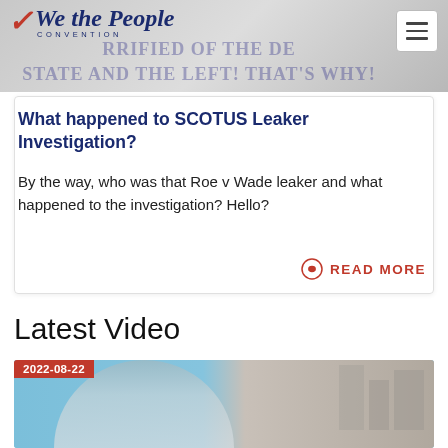We the People Convention — TERRIFIED OF THE DEEP STATE AND THE LEFT! THAT'S WHY!
What happened to SCOTUS Leaker Investigation?
By the way, who was that Roe v Wade leaker and what happened to the investigation? Hello?
READ MORE
Latest Video
[Figure (photo): Video thumbnail dated 2022-08-22 showing a man outdoors with city buildings in the background]